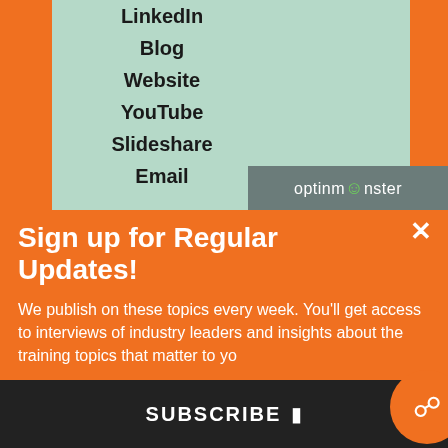LinkedIn
Blog
Website
YouTube
Slideshare
Email
[Figure (logo): OptinMonster logo in gray bar]
Sign up for Regular Updates!
We publish on these topics every week. You'll get access to interviews of industry leaders and insights about the training topics that matter to yo
Enter your
Enter your
SUBSCRIBE